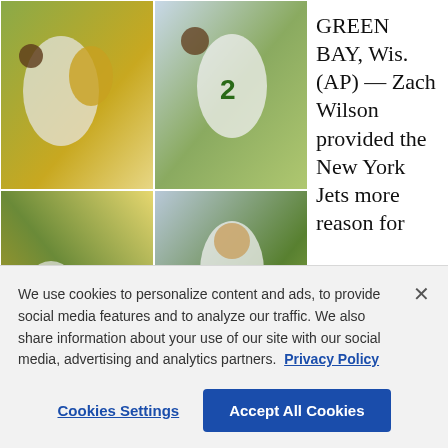[Figure (photo): Six sports photos arranged in a 2x3 grid showing New York Jets quarterback Zach Wilson and Green Bay Packers players during a football game]
GREEN BAY, Wis. (AP) — Zach Wilson provided the New York Jets more reason for
We use cookies to personalize content and ads, to provide social media features and to analyze our traffic. We also share information about your use of our site with our social media, advertising and analytics partners. Privacy Policy
Cookies Settings
Accept All Cookies